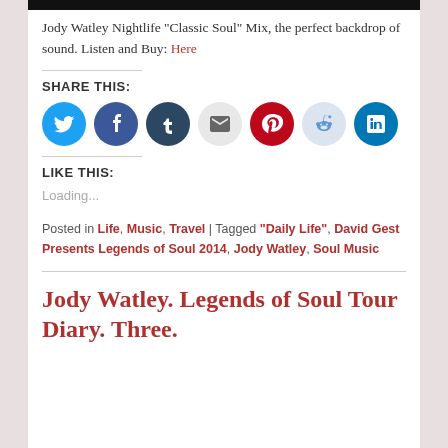[Figure (other): Black bar at top of page (image header crop)]
Jody Watley Nightlife "Classic Soul" Mix, the perfect backdrop of sound. Listen and Buy: Here
SHARE THIS:
[Figure (other): Social media sharing icons: Twitter, Facebook, Tumblr, Email, Pinterest, Reddit, LinkedIn]
LIKE THIS:
Loading...
Posted in Life, Music, Travel | Tagged "Daily Life", David Gest Presents Legends of Soul 2014, Jody Watley, Soul Music
Jody Watley. Legends of Soul Tour Diary. Three.